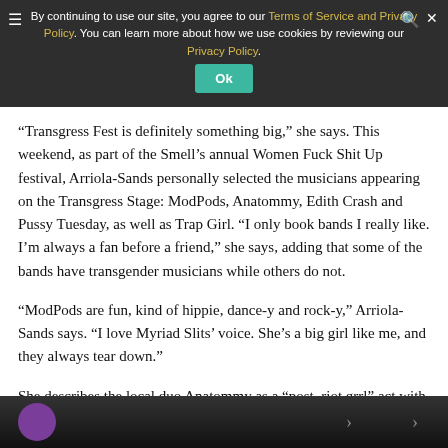By continuing to use our site, you agree to our Terms of Service and Privacy Policy. You can learn more about how we use cookies by reviewing our Privacy Policy. Ok
“Transgress Fest is definitely something big,” she says. This weekend, as part of the Smell’s annual Women Fuck Shit Up festival, Arriola-Sands personally selected the musicians appearing on the Transgress Stage: ModPods, Anatommy, Edith Crash and Pussy Tuesday, as well as Trap Girl. “I only book bands I really like. I’m always a fan before a friend,” she says, adding that some of the bands have transgender musicians while others do not.
“ModPods are fun, kind of hippie, dance-y and rock-y,” Arriola-Sands says. “I love Myriad Slits’ voice. She’s a big girl like me, and they always tear down.”
She describes the local duo Anatommy as a “post–riot grrl” act with “a female-fronted rock sound” that’s inspired by ’90s bands. “[Guitarist-vocalist] Charlene [Medina] is kind of crazy, but I like crazy people. Like, something’s wrong with her, but it’s OK; it’s fun.”
[Figure (photo): Bottom strip of a photo showing a dark background with a purple circular element on the left side, partially visible, suggesting a concert or event image.]